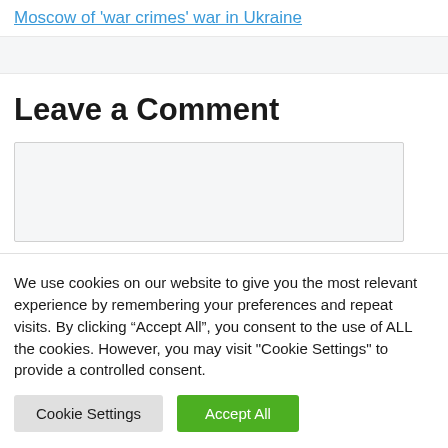Moscow of 'war crimes' war in Ukraine
Leave a Comment
We use cookies on our website to give you the most relevant experience by remembering your preferences and repeat visits. By clicking “Accept All”, you consent to the use of ALL the cookies. However, you may visit "Cookie Settings" to provide a controlled consent.